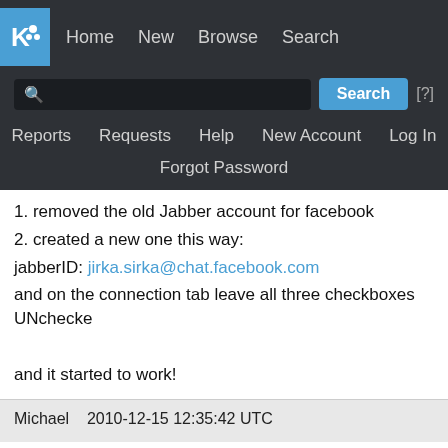KDE navigation bar with Home, New, Browse, Search, Reports, Requests, Help, New Account, Log In, Forgot Password
1. removed the old Jabber account for facebook
2. created a new one this way:
jabberID: jirka.sirka@chat.facebook.com
and on the connection tab leave all three checkboxes UNchecked
and it started to work!
Michael    2010-12-15 12:35:42 UTC
(In reply to comment #16)
> After some trying to make it work, it works ag
>